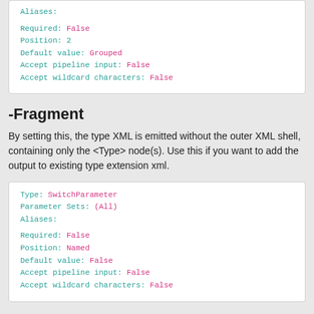Aliases:

Required: False
Position: 2
Default value: Grouped
Accept pipeline input: False
Accept wildcard characters: False
-Fragment
By setting this, the type XML is emitted without the outer XML shell, containing only the <Type> node(s). Use this if you want to add the output to existing type extension xml.
Type: SwitchParameter
Parameter Sets: (All)
Aliases:

Required: False
Position: Named
Default value: False
Accept pipeline input: False
Accept wildcard characters: False